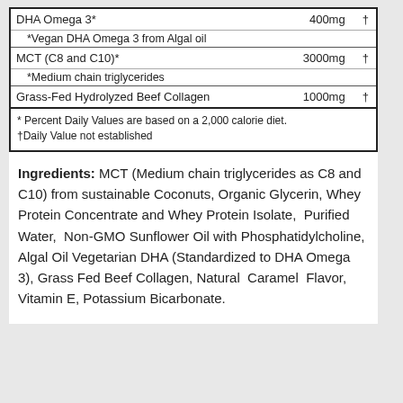| Ingredient | Amount | DV |
| --- | --- | --- |
| DHA Omega 3* | 400mg | † |
| *Vegan DHA Omega 3 from Algal oil |  |  |
| MCT (C8 and C10)* | 3000mg | † |
| *Medium chain triglycerides |  |  |
| Grass-Fed Hydrolyzed Beef Collagen | 1000mg | † |
* Percent Daily Values are based on a 2,000 calorie diet.
†Daily Value not established
Ingredients: MCT (Medium chain triglycerides as C8 and C10) from sustainable Coconuts, Organic Glycerin, Whey Protein Concentrate and Whey Protein Isolate, Purified Water, Non-GMO Sunflower Oil with Phosphatidylcholine, Algal Oil Vegetarian DHA (Standardized to DHA Omega 3), Grass Fed Beef Collagen, Natural Caramel Flavor, Vitamin E, Potassium Bicarbonate.